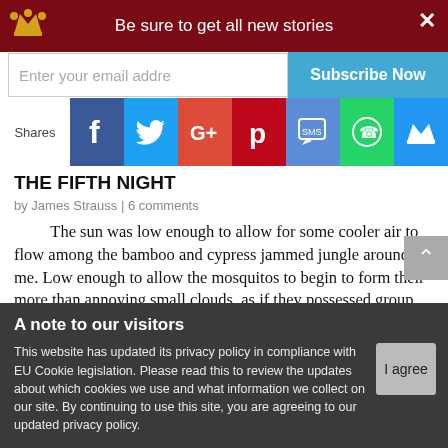Be sure to get all new stories
Enter your email address
Subscribe Now
Shares
THE FIFTH NIGHT
by James Strauss | 6 comments
The sun was low enough to allow for some cooler air to flow among the bamboo and cypress jammed jungle around me. Low enough to allow the mosquitos to begin to form their more than annoying small clouds, as if they possessed group minds in search of evilly-conceived targets....
A note to our visitors
This website has updated its privacy policy in compliance with EU Cookie legislation. Please read this to review the updates about which cookies we use and what information we collect on our site. By continuing to use this site, you are agreeing to our updated privacy policy.
I agree